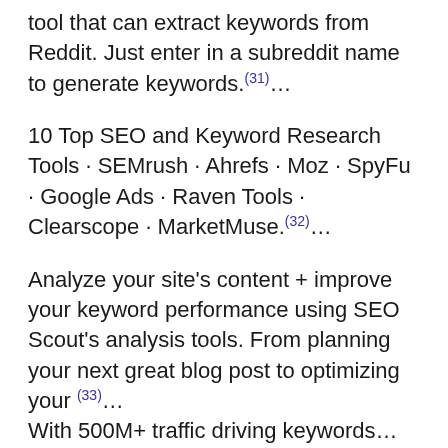tool that can extract keywords from Reddit. Just enter in a subreddit name to generate keywords.(31)…
10 Top SEO and Keyword Research Tools · SEMrush · Ahrefs · Moz · SpyFu · Google Ads · Raven Tools · Clearscope · MarketMuse.(32)…
Analyze your site's content + improve your keyword performance using SEO Scout's analysis tools. From planning your next great blog post to optimizing your (33)…
With 500M+ traffic driving keywords…